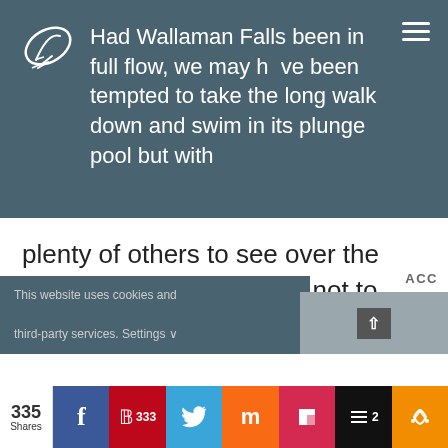Had Wallaman Falls been in full flow, we may have been tempted to take the long walk down and swim in its plunge pool but with
plenty of others to see over the next few days, we chose not to.
If you do want to do the walk though, it begins next to the car park and is a 3.2km return – down
This website uses cookies and third-party services. Settings
335 Shares | Facebook | Pinterest 333 | Twitter | Mix | Flipboard | Buffer 2 | Share